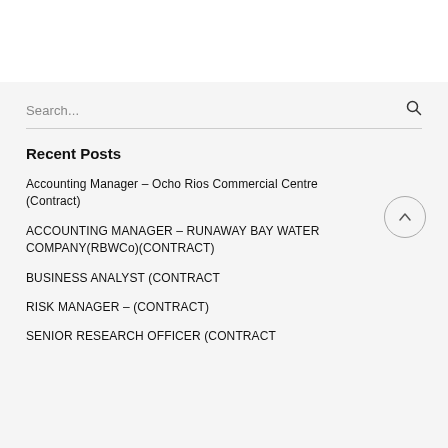Search...
Recent Posts
Accounting Manager – Ocho Rios Commercial Centre (Contract)
ACCOUNTING MANAGER – RUNAWAY BAY WATER COMPANY(RBWCo)(CONTRACT)
BUSINESS ANALYST (CONTRACT
RISK MANAGER – (CONTRACT)
SENIOR RESEARCH OFFICER (CONTRACT